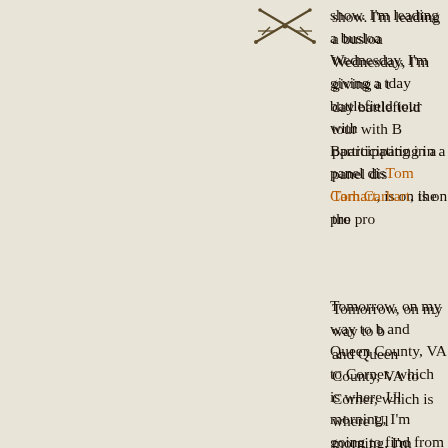[Figure (logo): Crossed swords / sabers decorative emblem icon]
show. I'm leading a busload... Wednesday, I'm giving a t... day battlefield tour with B... participating in a panel dis... Tom Carhart, is on the pro...
Tomorrow, on my way to b... and Queen County, VA to... Corner, which is where Ul... morning, I'm going to find... from the defenses of Richm... I will be making my visit t...
Saturday, after the panel d... participate in a late-night p... on Sunday morning at one... Chamber of Commerce ev... never to say no when he as...
So, I'll be hitting the hot a... Central. I will try to report...